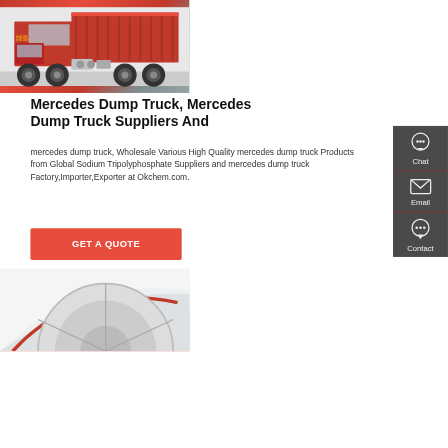[Figure (photo): Red Mercedes dump truck photographed from the side, showing cab and cargo bed]
Mercedes Dump Truck, Mercedes Dump Truck Suppliers And
mercedes dump truck, Wholesale Various High Quality mercedes dump truck Products from Global Sodium Tripolyphosphate Suppliers and mercedes dump truck Factory,Importer,Exporter at Okchem.com.
[Figure (infographic): Sidebar with Chat, Email, and Contact icons on dark gray background]
[Figure (photo): Close-up of white/silver truck wheel arch and tire]
GET A QUOTE